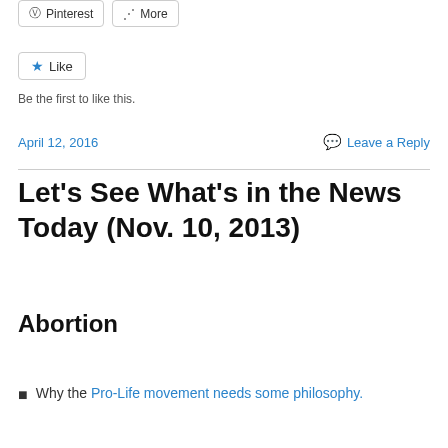[Figure (other): Social share buttons: Pinterest and More]
[Figure (other): Like button with star icon]
Be the first to like this.
April 12, 2016
Leave a Reply
Let's See What's in the News Today (Nov. 10, 2013)
Abortion
Why the Pro-Life movement needs some philosophy.